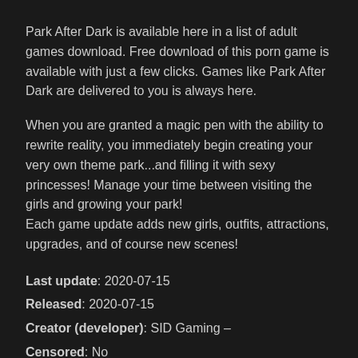Park After Dark is available here in a list of adult games download. Free download of this porn game is available with just a few clicks. Games like Park After Dark are delivered to you is always here.
When you are granted a magic pen with the ability to rewrite reality, you immediately begin creating your very own theme park...and filling it with sexy princesses! Manage your time between visiting the girls and growing your park!
Each game update adds new girls, outfits, attractions, upgrades, and of course new scenes!
Last update: 2020-07-15
Released: 2020-07-15
Creator (developer): SID Gaming –
Censored: No